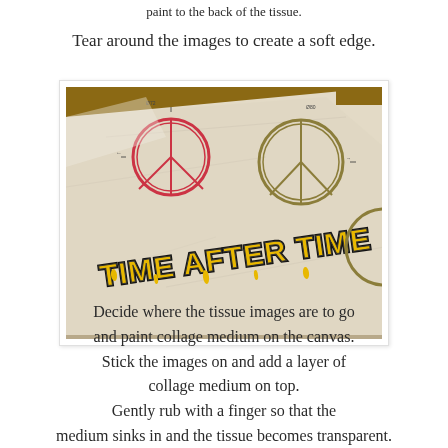paint to the back of the tissue.
Tear around the images to create a soft edge.
[Figure (photo): Photo of tissue paper laid on a wooden surface, showing printed images including peace symbols and the text 'TIME AFTER TIME' in yellow graffiti-style lettering with black outline.]
Decide where the tissue images are to go and paint collage medium on the canvas. Stick the images on and add a layer of collage medium on top. Gently rub with a finger so that the medium sinks in and the tissue becomes transparent.